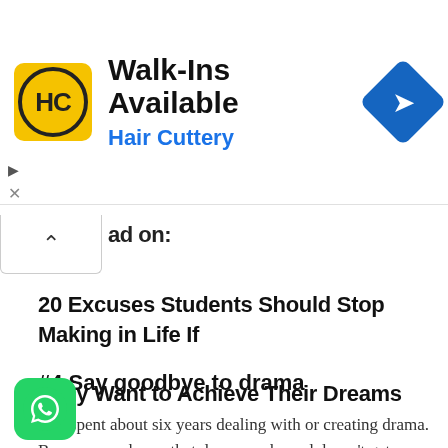[Figure (logo): Hair Cuttery advertisement banner with HC logo, text 'Walk-Ins Available' and 'Hair Cuttery', and a blue navigation diamond icon]
ad on:
20 Excuses Students Should Stop Making in Life If They Want to Achieve Their Dreams
#4 Say goodbye to drama
You spent about six years dealing with or creating drama. By now, you know that drama sucks and doesn't get you anywhere near where you want to be in life.
[Figure (logo): WhatsApp green rounded square icon in bottom left corner]